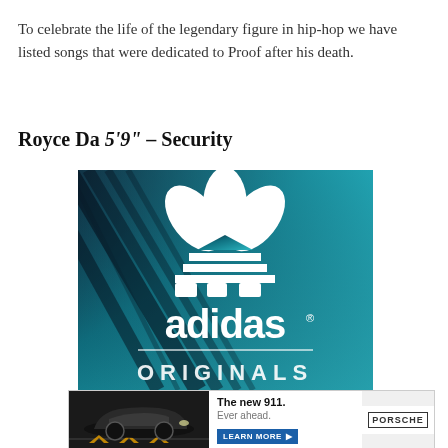To celebrate the life of the legendary figure in hip-hop we have listed songs that were dedicated to Proof after his death.
Royce Da 5'9" – Security
[Figure (photo): Adidas Originals advertisement showing the Adidas trefoil logo in white on a teal/dark blue background with palm leaf shadows. The word 'adidas' appears in white lowercase letters with a registered trademark symbol, and 'ORIGINALS' text is partially visible at the bottom.]
[Figure (photo): Porsche advertisement banner showing a dark Porsche 911 on a road with 'The new 911. Ever ahead.' text and a LEARN MORE button, with the Porsche logo on the right.]